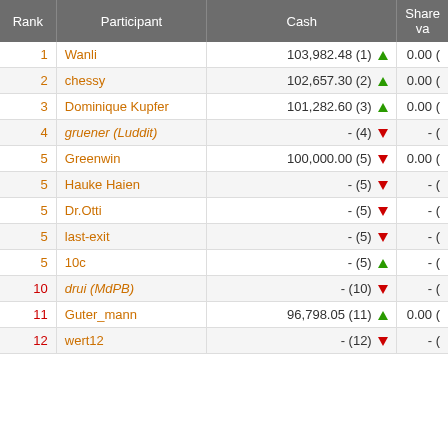| Rank | Participant | Cash | Share va |
| --- | --- | --- | --- |
| 1 | Wanli | 103,982.48 (1) ▲ | 0.00 ( |
| 2 | chessy | 102,657.30 (2) ▲ | 0.00 ( |
| 3 | Dominique Kupfer | 101,282.60 (3) ▲ | 0.00 ( |
| 4 | gruener (Luddit) | - (4) ▼ | - ( |
| 5 | Greenwin | 100,000.00 (5) ▼ | 0.00 ( |
| 5 | Hauke Haien | - (5) ▼ | - ( |
| 5 | Dr.Otti | - (5) ▼ | - ( |
| 5 | last-exit | - (5) ▼ | - ( |
| 5 | 10c | - (5) ▲ | - ( |
| 10 | drui (MdPB) | - (10) ▼ | - ( |
| 11 | Guter_mann | 96,798.05 (11) ▲ | 0.00 ( |
| 12 | wert12 | - (12) ▼ | - ( |